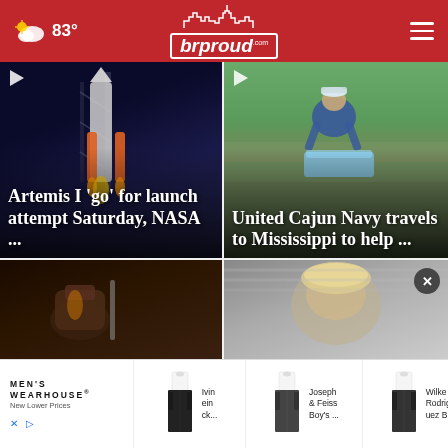83° brproud.com
[Figure (photo): Rocket on launch pad at night – Artemis I]
Artemis I 'go' for launch attempt Saturday, NASA ...
[Figure (photo): Man loading water bottles – United Cajun Navy]
United Cajun Navy travels to Mississippi to help ...
[Figure (photo): Dark close-up of drink/bottle]
[Figure (photo): Close-up face photo]
[Figure (other): Men's Wearhouse advertisement banner with suit photos and product names: Ivin ein ck..., Joseph & Feiss Boy's ..., Wilke Rodrig uez Bl...]